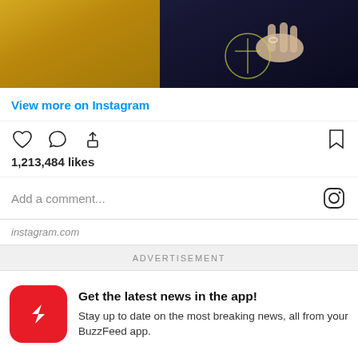[Figure (photo): Cropped photo showing a golden/yellow textured surface on the left and a person's hand resting on a dark navy surface with a logo or emblem on the right.]
View more on Instagram
1,213,484 likes
Add a comment...
instagram.com
ADVERTISEMENT
Get the latest news in the app! Stay up to date on the most breaking news, all from your BuzzFeed app.
Maybe later
Get the app